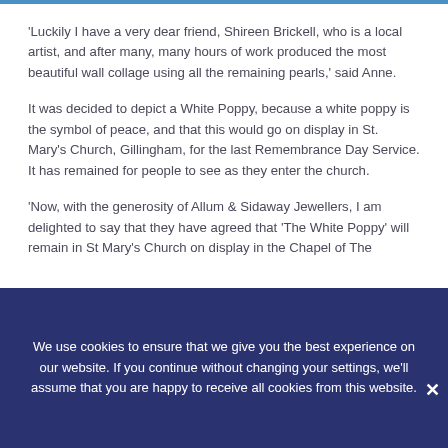'Luckily I have a very dear friend, Shireen Brickell, who is a local artist, and after many, many hours of work produced the most beautiful wall collage using all the remaining pearls,' said Anne.
It was decided to depict a White Poppy, because a white poppy is the symbol of peace, and that this would go on display in St. Mary's Church, Gillingham, for the last Remembrance Day Service. It has remained for people to see as they enter the church.
'Now, with the generosity of Allum & Sidaway Jewellers, I am delighted to say that they have agreed that 'The White Poppy' will remain in St Mary's Church on display in the Chapel of The
We use cookies to ensure that we give you the best experience on our website. If you continue without changing your settings, we'll assume that you are happy to receive all cookies from this website.